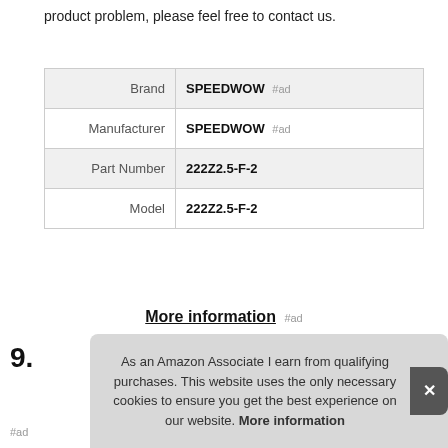product problem, please feel free to contact us.
|  |  |
| --- | --- |
| Brand | SPEEDWOW #ad |
| Manufacturer | SPEEDWOW #ad |
| Part Number | 222Z2.5-F-2 |
| Model | 222Z2.5-F-2 |
More information #ad
9.
#ad
As an Amazon Associate I earn from qualifying purchases. This website uses the only necessary cookies to ensure you get the best experience on our website. More information